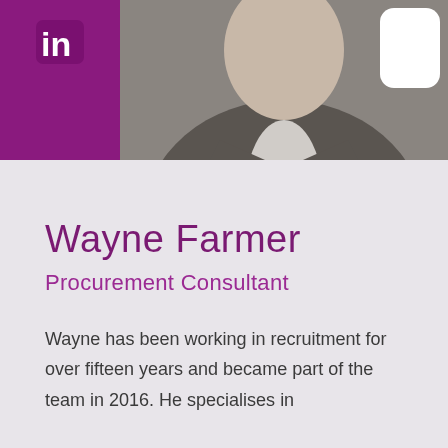[Figure (photo): Profile photo of Wayne Farmer in a suit, with LinkedIn logo in top-left corner and white rounded card in top-right]
Wayne Farmer
Procurement Consultant
Wayne has been working in recruitment for over fifteen years and became part of the team in 2016. He specialises in